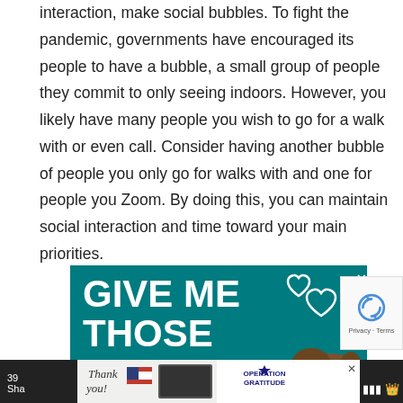interaction, make social bubbles. To fight the pandemic, governments have encouraged its people to have a bubble, a small group of people they commit to only seeing indoors. However, you likely have many people you wish to go for a walk with or even call. Consider having another bubble of people you only go for walks with and one for people you Zoom. By doing this, you can maintain social interaction and time toward your main priorities.
[Figure (illustration): Advertisement banner with teal background showing bold white text 'GIVE ME THOSE PUPPY' with heart outlines and a dog photo in the lower right corner. A close button (X) is in the upper right.]
[Figure (other): reCAPTCHA widget showing spinning arrows icon with 'Privacy - Terms' text below.]
[Figure (illustration): Bottom banner ad showing 'Thank you!' handwritten text with American flag and military firefighters photo, alongside 'Operation Gratitude' logo with star. Close button (X) on right.]
39 Sha...